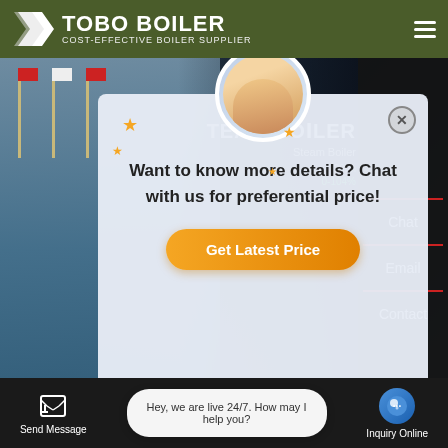TOBO BOILER — COST-EFFECTIVE BOILER SUPPLIER
[Figure (screenshot): Website screenshot of Tobo Boiler with popup chat modal showing a customer service representative, 'Want to know more details? Chat with us for preferential price!' message, and a 'Get Latest Price' button. WhatsApp contact buttons visible. Bottom section shows 'Meaning Of Carryover In Steam Boiler' heading and a live chat bar.]